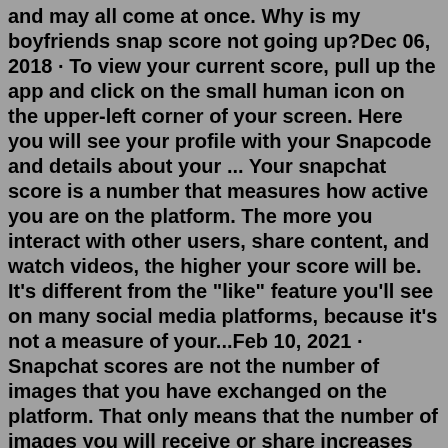and may all come at once. Why is my boyfriends snap score not going up?Dec 06, 2018 · To view your current score, pull up the app and click on the small human icon on the upper-left corner of your screen. Here you will see your profile with your Snapcode and details about your ... Your snapchat score is a number that measures how active you are on the platform. The more you interact with other users, share content, and watch videos, the higher your score will be. It's different from the "like" feature you'll see on many social media platforms, because it's not a measure of your...Feb 10, 2021 · Snapchat scores are not the number of images that you have exchanged on the platform. That only means that the number of images you will receive or share increases the Snapchat score. Here in this article, we have shared the Snapchat Score Hack Android to increase your Snapchat score. How to Increase Fast Snapchat Score (100% Works) Snapscore bot. Increase Snapchat Score FAST 2020 (33,000,000+ SNAP SCORE) iPhone (iOS) / Android - EASIEST WAY. Snapchat